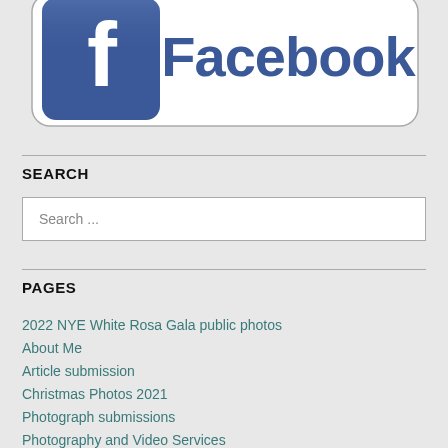[Figure (logo): Facebook logo with blue 'f' icon on left and 'Facebook' text on right, rounded rectangle border, blue and white color scheme]
SEARCH
Search ...
PAGES
2022 NYE White Rosa Gala public photos
About Me
Article submission
Christmas Photos 2021
Photograph submissions
Photography and Video Services